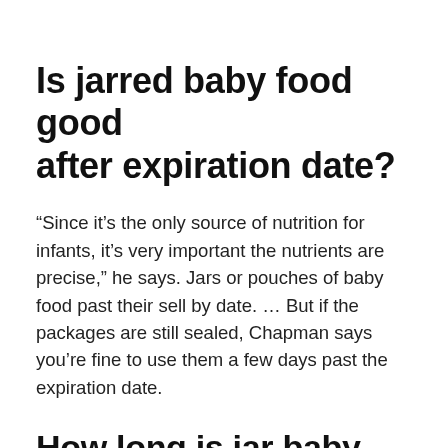Is jarred baby food good after expiration date?
“Since it’s the only source of nutrition for infants, it’s very important the nutrients are precise,” he says. Jars or pouches of baby food past their sell by date. … But if the packages are still sealed, Chapman says you’re fine to use them a few days past the expiration date.
How long is jar baby food good for?
Never allow opened jars of food to sit at